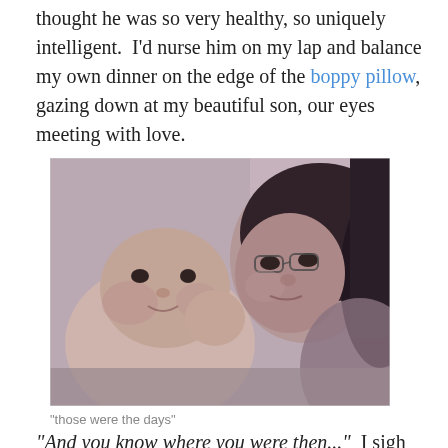thought he was so very healthy, so uniquely intelligent.  I'd nurse him on my lap and balance my own dinner on the edge of the boppy pillow, gazing down at my beautiful son, our eyes meeting with love.
[Figure (photo): A woman with dark hair and glasses holding a baby close to her face, a tender moment captured in a grainy, slightly blurry photograph.]
"those were the days"
"And you know where you were then..."  I sigh too